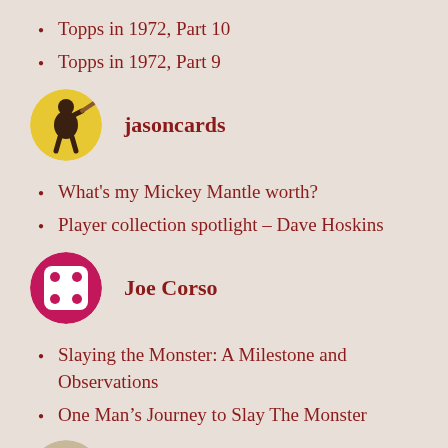Topps in 1972, Part 10
Topps in 1972, Part 9
jasoncards
What's my Mickey Mantle worth?
Player collection spotlight – Dave Hoskins
Joe Corso
Slaying the Monster: A Milestone and Observations
One Man's Journey to Slay The Monster
jnm2010